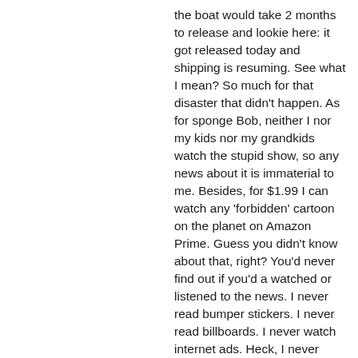the boat would take 2 months to release and lookie here: it got released today and shipping is resuming. See what I mean? So much for that disaster that didn't happen. As for sponge Bob, neither I nor my kids nor my grandkids watch the stupid show, so any news about it is immaterial to me. Besides, for $1.99 I can watch any 'forbidden' cartoon on the planet on Amazon Prime. Guess you didn't know about that, right? You'd never find out if you'd a watched or listened to the news. I never read bumper stickers. I never read billboards. I never watch internet ads. Heck, I never watch nor listen to any form of advertisement. Unless it's playing at The Dollar Store.
Turn off your TV. Only play pre-fab music on the radio. Break out The Beatles and listen to George Harrison sing about the tax man who took away 95% of their England wealth and bask in the knowledge that as the pandemic reigns, more and more states will be legalizing pot and soon enough we'll all be so stoned that we won't give a human fuck about anything worthwhile. Especially the ramblings of a demented